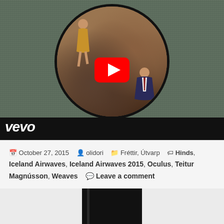[Figure (screenshot): YouTube/Vevo music video thumbnail showing two people (a woman in yellow dress sitting on rocks, a man in suit sitting below) in a circular frame over a denim-textured background, with a red YouTube play button overlay and a black bar at the bottom with 'vevo' text]
October 27, 2015  olidori  Fréttir, Útvarp  Hinds, Iceland Airwaves, Iceland Airwaves 2015, Oculus, Teitur Magnússon, Weaves  Leave a comment
[Figure (screenshot): Partial view of a dark rectangular image at the bottom of the page]